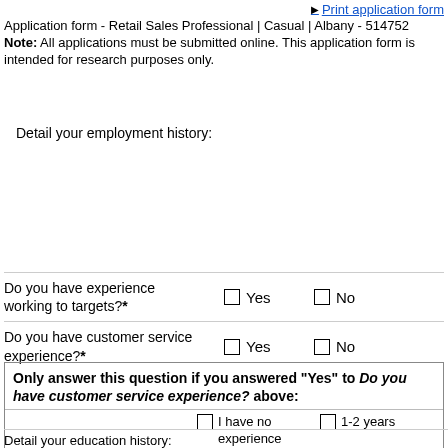Print application form
Application form - Retail Sales Professional | Casual | Albany - 514752
Note: All applications must be submitted online. This application form is intended for research purposes only.
Detail your employment history:
Do you have experience working to targets?*   ☐ Yes   ☐ No
Do you have customer service experience?*   ☐ Yes   ☐ No
Only answer this question if you answered "Yes" to Do you have customer service experience? above:
How many years experience do you have in customer service?*   ☐ I have no experience   ☐ 1-2 years   ☐ 2-3 years   ☐ 3-5 years   ☐ 5 years +
Detail your education history: